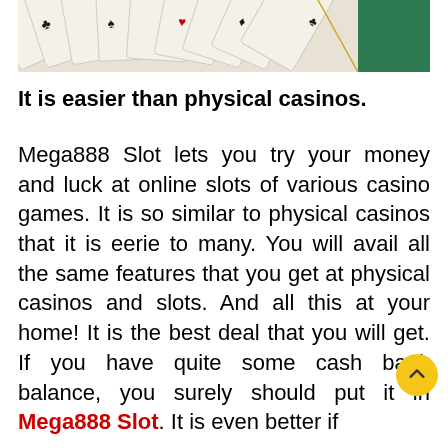[Figure (photo): Top portion of playing cards fanned out on a green surface, showing card backs and suits (clubs, spades, hearts, diamonds).]
It is easier than physical casinos.
Mega888 Slot lets you try your money and luck at online slots of various casino games. It is so similar to physical casinos that it is eerie to many. You will avail all the same features that you get at physical casinos and slots. And all this at your home! It is the best deal that you will get. If you have quite some cash bank balance, you surely should put it in Mega888 Slot. It is even better if